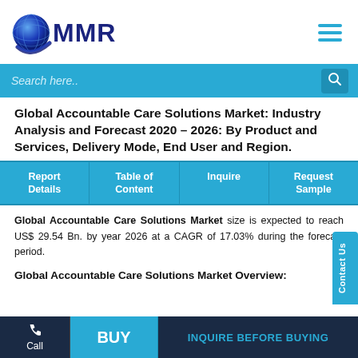[Figure (logo): MMR globe logo with blue globe graphic and 'MMR' text in dark navy blue]
Global Accountable Care Solutions Market: Industry Analysis and Forecast 2020 – 2026: By Product and Services, Delivery Mode, End User and Region.
| Report Details | Table of Content | Inquire | Request Sample |
| --- | --- | --- | --- |
Global Accountable Care Solutions Market size is expected to reach US$ 29.54 Bn. by year 2026 at a CAGR of 17.03% during the forecast period.
Global Accountable Care Solutions Market Overview: